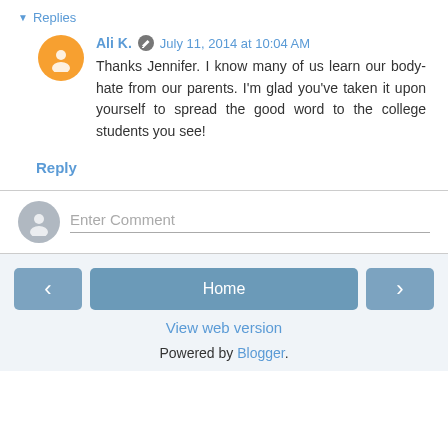Replies
Ali K.  July 11, 2014 at 10:04 AM
Thanks Jennifer. I know many of us learn our body-hate from our parents. I'm glad you've taken it upon yourself to spread the good word to the college students you see!
Reply
Enter Comment
Home
View web version
Powered by Blogger.